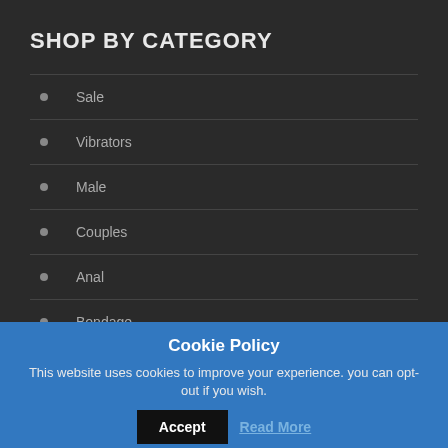SHOP BY CATEGORY
Sale
Vibrators
Male
Couples
Anal
Bondage
Essentials
Cookie Policy
This website uses cookies to improve your experience. you can opt-out if you wish.
Accept
Read More